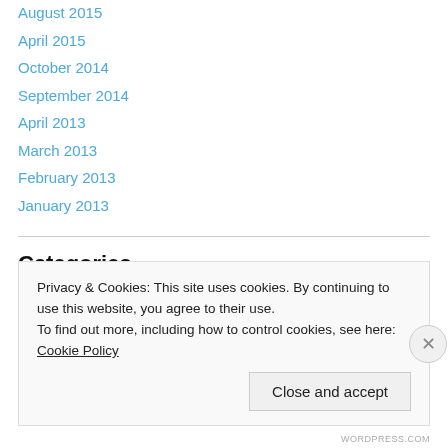August 2015
April 2015
October 2014
September 2014
April 2013
March 2013
February 2013
January 2013
Categories
abuse
Privacy & Cookies: This site uses cookies. By continuing to use this website, you agree to their use.
To find out more, including how to control cookies, see here: Cookie Policy
Close and accept
WORDPRESS.COM